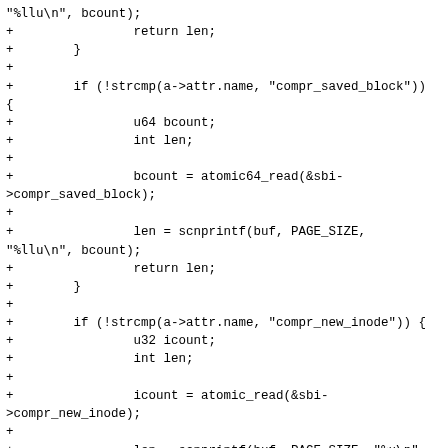Code diff showing C code additions for compr_saved_block and compr_new_inode attribute handling in a Linux kernel file.